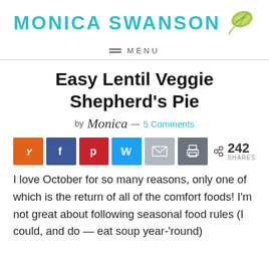MONICA SWANSON
MENU
Easy Lentil Veggie Shepherd's Pie
by Monica — 5 Comments
[Figure (other): Social share buttons: Yummly, Facebook, Pinterest, Twitter, Email, Print, with 242 SHARES count]
I love October for so many reasons, only one of which is the return of all of the comfort foods! I'm not great about following seasonal food rules (I could, and do — eat soup year-'round)